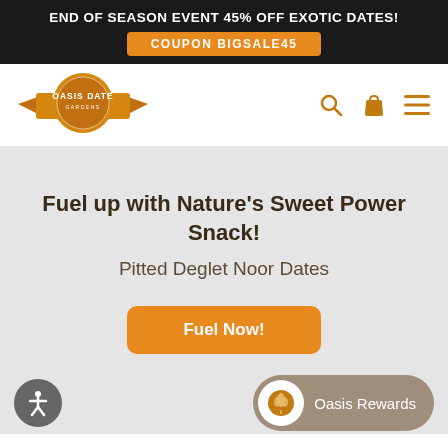END OF SEASON EVENT 45% OFF EXOTIC DATES! COUPON BIGSALE45
[Figure (logo): Oasis Date Gardens circular logo with orange banner]
Fuel up with Nature's Sweet Power Snack!
Pitted Deglet Noor Dates
Fuel Now!
Oasis Rewards